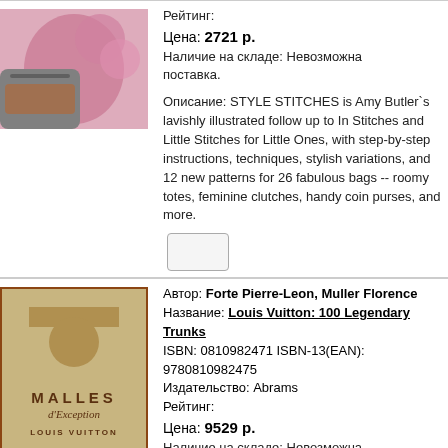[Figure (photo): Book cover image with colorful pink/floral fabric and stool]
Рейтинг:
Цена: 2721 р.
Наличие на склдае: Невозможна поставка.
Описание: STYLE STITCHES is Amy Butler`s lavishly illustrated follow up to In Stitches and Little Stitches for Little Ones, with step-by-step instructions, techniques, stylish variations, and 12 new patterns for 26 fabulous bags -- roomy totes, feminine clutches, handy coin purses, and more.
[Figure (photo): Louis Vuitton Malles d'Exception book cover in tan/beige with geometric shapes]
Автор: Forte Pierre-Leon, Muller Florence
Название: Louis Vuitton: 100 Legendary Trunks
ISBN: 0810982471 ISBN-13(EAN): 9780810982475
Издательство: Abrams
Рейтинг:
Цена: 9529 р.
Наличие на складе: Невозможна поставка.
Описание: The next major book from Louis Vuitton, the pre-eminent luxury company,